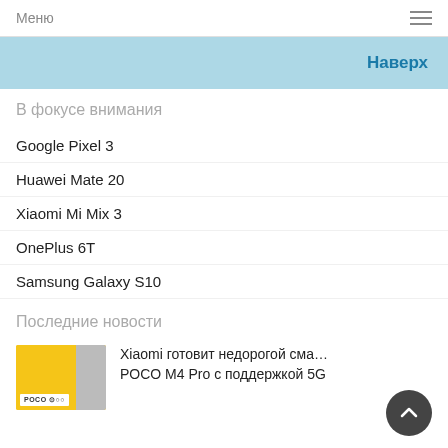Меню
Наверх
В фокусе внимания
Google Pixel 3
Huawei Mate 20
Xiaomi Mi Mix 3
OnePlus 6T
Samsung Galaxy S10
Последние новости
Xiaomi готовит недорогой смартфон POCO M4 Pro с поддержкой 5G